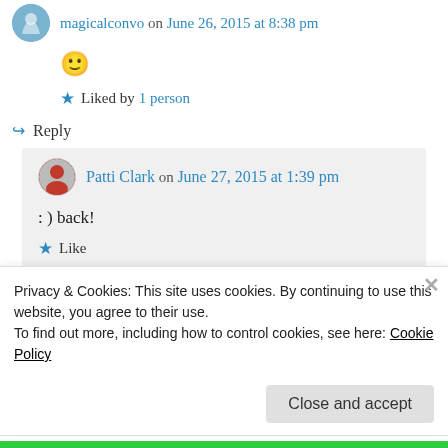magicalconvo on June 26, 2015 at 8:38 pm
🙂
★ Liked by 1 person
↪ Reply
Patti Clark on June 27, 2015 at 1:39 pm
: ) back!
★ Like
Privacy & Cookies: This site uses cookies. By continuing to use this website, you agree to their use.
To find out more, including how to control cookies, see here: Cookie Policy